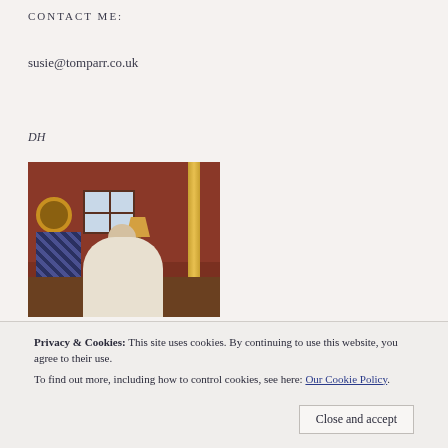CONTACT ME:
susie@tomparr.co.uk
DH
[Figure (photo): Interior room scene with an elderly person seated in a chair, wallpapered walls, a window, a table lamp, a sunflower decoration, and tartan furniture]
[Figure (photo): Partial bottom photo showing warm orange/amber tones, likely another interior scene]
Privacy & Cookies: This site uses cookies. By continuing to use this website, you agree to their use.
To find out more, including how to control cookies, see here: Our Cookie Policy
Close and accept